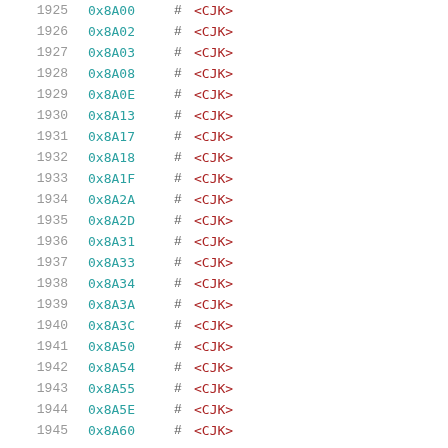| index | hex | # | label |
| --- | --- | --- | --- |
| 1925 | 0x8A00 | # | <CJK> |
| 1926 | 0x8A02 | # | <CJK> |
| 1927 | 0x8A03 | # | <CJK> |
| 1928 | 0x8A08 | # | <CJK> |
| 1929 | 0x8A0E | # | <CJK> |
| 1930 | 0x8A13 | # | <CJK> |
| 1931 | 0x8A17 | # | <CJK> |
| 1932 | 0x8A18 | # | <CJK> |
| 1933 | 0x8A1F | # | <CJK> |
| 1934 | 0x8A2A | # | <CJK> |
| 1935 | 0x8A2D | # | <CJK> |
| 1936 | 0x8A31 | # | <CJK> |
| 1937 | 0x8A33 | # | <CJK> |
| 1938 | 0x8A34 | # | <CJK> |
| 1939 | 0x8A3A | # | <CJK> |
| 1940 | 0x8A3C | # | <CJK> |
| 1941 | 0x8A50 | # | <CJK> |
| 1942 | 0x8A54 | # | <CJK> |
| 1943 | 0x8A55 | # | <CJK> |
| 1944 | 0x8A5E | # | <CJK> |
| 1945 | 0x8A60 | # | <CJK> |